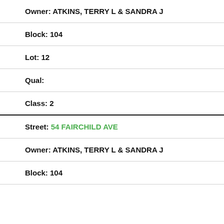Owner: ATKINS, TERRY L & SANDRA J
Block: 104
Lot: 12
Qual:
Class: 2
Street: 54 FAIRCHILD AVE
Owner: ATKINS, TERRY L & SANDRA J
Block: 104